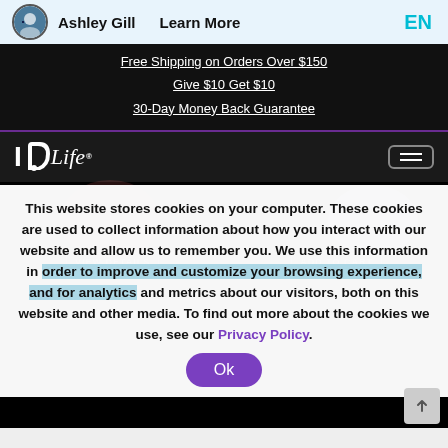Ashley Gill   Learn More   EN
Free Shipping on Orders Over $150
Give $10 Get $10
30-Day Money Back Guarantee
[Figure (logo): ID Life logo in white on dark background with hamburger menu icon]
This website stores cookies on your computer. These cookies are used to collect information about how you interact with our website and allow us to remember you. We use this information in order to improve and customize your browsing experience, and for analytics and metrics about our visitors, both on this website and other media. To find out more about the cookies we use, see our Privacy Policy.
Ok